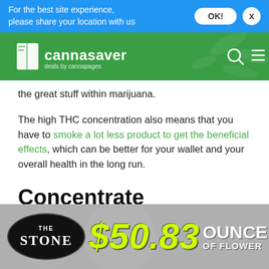For the best site experience, please share your location with us
[Figure (logo): Cannasaver logo - deals by cannapages, with search and menu icons]
the great stuff within marijuana.
The high THC concentration also means that you have to smoke a lot less product to get the beneficial effects, which can be better for your wallet and your overall health in the long run.
Concentrate Extraction Methods
[Figure (infographic): The Stone dispensary ad: $50.83 OUNCE OF FLOWER]